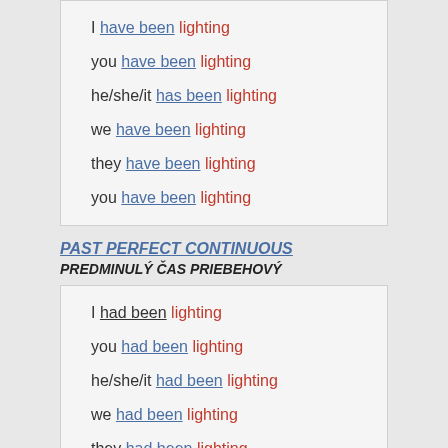I have been lighting
you have been lighting
he/she/it has been lighting
we have been lighting
they have been lighting
you have been lighting
PAST PERFECT CONTINUOUS
PREDMINULÝ ČAS PRIEBEHOVÝ
I had been lighting
you had been lighting
he/she/it had been lighting
we had been lighting
they had been lighting